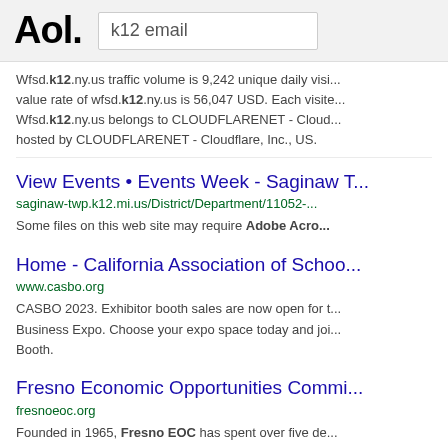[Figure (screenshot): AOL logo in bold black text]
k12 email
Wfsd.k12.ny.us traffic volume is 9,242 unique daily visitors and value rate of wfsd.k12.ny.us is 56,047 USD. Each visit... Wfsd.k12.ny.us belongs to CLOUDFLARENET - Cloudflare, Inc., US. hosted by CLOUDFLARENET - Cloudflare, Inc., US.
View Events • Events Week - Saginaw T...
saginaw-twp.k12.mi.us/District/Department/11052-...
Some files on this web site may require Adobe Acro...
Home - California Association of Schoo...
www.casbo.org
CASBO 2023. Exhibitor booth sales are now open for Business Expo. Choose your expo space today and join... Booth.
Fresno Economic Opportunities Commi...
fresnoeoc.org
Founded in 1965, Fresno EOC has spent over five decades helping people become self-sufficient. Fresno EOC is considered one of... the country. We employ over 1,200 full and part-time s...